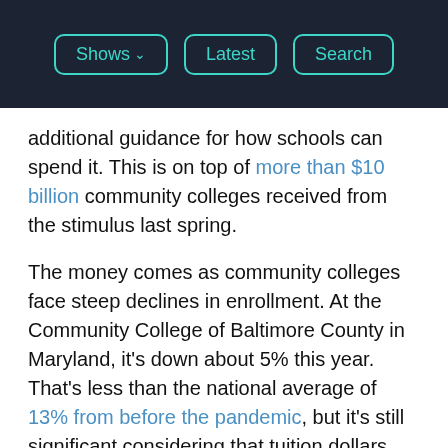Shows | Latest | Search
additional guidance for how schools can spend it. This is on top of more than $10 billion community colleges received from the stimulus last spring.
The money comes as community colleges face steep declines in enrollment. At the Community College of Baltimore County in Maryland, it's down about 5% this year. That's less than the national average of 13% from before the pandemic, but it's still significant considering that tuition dollars account for more than 40% of the school's revenue. Sandra Kurtinitis, the school's president, said she doesn't know what she would have done without federal funds.
“With every one of the stimulus grants, the initial amount